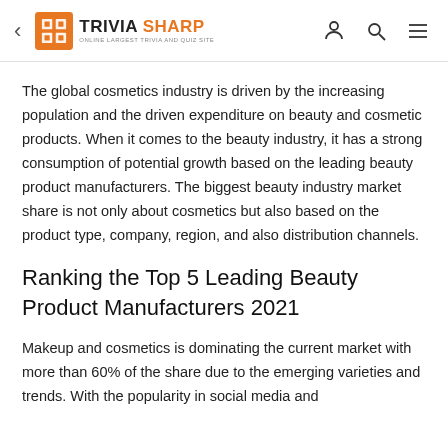TRIVIA SHARP — Online Largest Trivia and Quiz Site
The global cosmetics industry is driven by the increasing population and the driven expenditure on beauty and cosmetic products. When it comes to the beauty industry, it has a strong consumption of potential growth based on the leading beauty product manufacturers. The biggest beauty industry market share is not only about cosmetics but also based on the product type, company, region, and also distribution channels.
Ranking the Top 5 Leading Beauty Product Manufacturers 2021
Makeup and cosmetics is dominating the current market with more than 60% of the share due to the emerging varieties and trends. With the popularity in social media and other avenues in the consumption, product-led consumers the